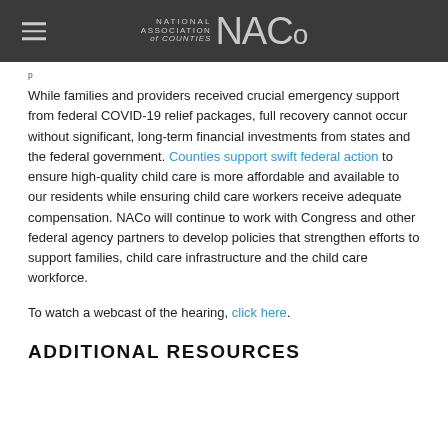NATIONAL ASSOCIATION of COUNTIES NACo
While families and providers received crucial emergency support from federal COVID-19 relief packages, full recovery cannot occur without significant, long-term financial investments from states and the federal government. Counties support swift federal action to ensure high-quality child care is more affordable and available to our residents while ensuring child care workers receive adequate compensation. NACo will continue to work with Congress and other federal agency partners to develop policies that strengthen efforts to support families, child care infrastructure and the child care workforce.
To watch a webcast of the hearing, click here.
ADDITIONAL RESOURCES